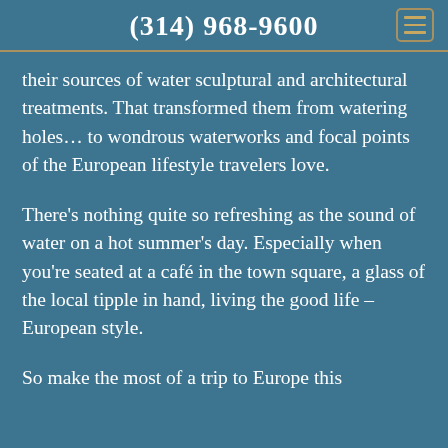(314) 968-9600
their sources of water sculptural and architectural treatments. That transformed them from watering holes… to wondrous waterworks and focal points of the European lifestyle travelers love.
There's nothing quite so refreshing as the sound of water on a hot summer's day. Especially when you're seated at a café in the town square, a glass of the local tipple in hand, living the good life – European style.
So make the most of a trip to Europe this